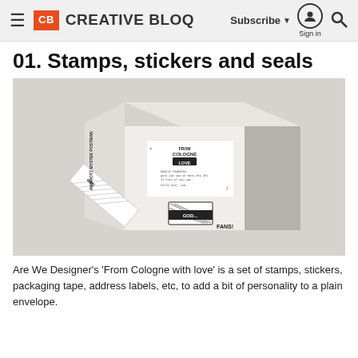CB CREATIVE BLOQ — Subscribe ▼  Sign in  🔍
01. Stamps, stickers and seals
[Figure (photo): A white cardboard box decorated with stamps, stickers, and packaging tape. The front face shows a label reading 'From Cologne with Love', a handwritten-style address label, and decorative corner marks. The left side shows diagonal tape with text and a 'GOD...' label with stripes.]
Are We Designer's 'From Cologne with love' is a set of stamps, stickers, packaging tape, address labels, etc, to add a bit of personality to a plain envelope.